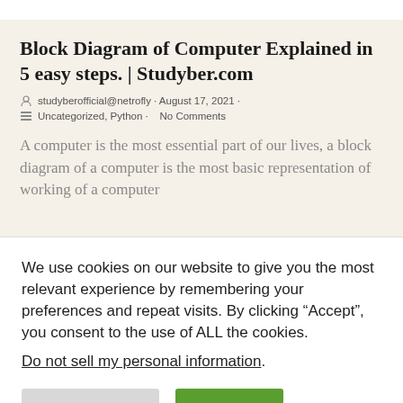Block Diagram of Computer Explained in 5 easy steps. | Studyber.com
studyberofficial@netrofly · August 17, 2021 · Uncategorized, Python · No Comments
A computer is the most essential part of our lives, a block diagram of a computer is the most basic representation of working of a computer
We use cookies on our website to give you the most relevant experience by remembering your preferences and repeat visits. By clicking “Accept”, you consent to the use of ALL the cookies.
Do not sell my personal information.
Cookie Settings | Accept